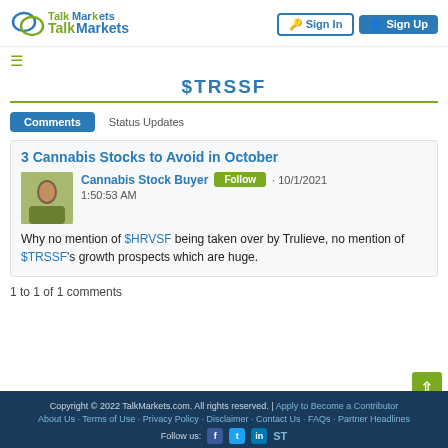TalkMarkets · Sign In · Sign Up
$TRSSF
Comments | Status Updates
3 Cannabis Stocks to Avoid in October
Cannabis Stock Buyer · Follow · 10/1/2021 1:50:53 AM
Why no mention of $HRVSF being taken over by Trulieve, no mention of $TRSSF's growth prospects which are huge.
1 to 1 of 1 comments
Copyright © 2022 TalkMarkets.com. All rights reserved. | Apply to Become a Contributor About Us · Terms of Use · Privacy Policy · Disclaimer · Contact Us · FAQs · Partner Headlines Follow us: Facebook Twitter LinkedIn ST